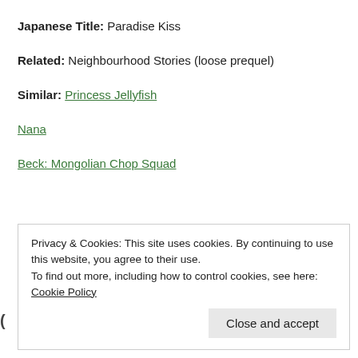Japanese Title: Paradise Kiss
Related: Neighbourhood Stories (loose prequel)
Similar: Princess Jellyfish
Nana
Beck: Mongolian Chop Squad
Privacy & Cookies: This site uses cookies. By continuing to use this website, you agree to their use. To find out more, including how to control cookies, see here: Cookie Policy